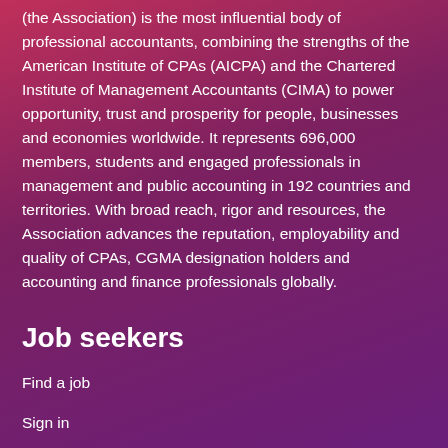(the Association) is the most influential body of professional accountants, combining the strengths of the American Institute of CPAs (AICPA) and the Chartered Institute of Management Accountants (CIMA) to power opportunity, trust and prosperity for people, businesses and economies worldwide. It represents 696,000 members, students and engaged professionals in management and public accounting in 192 countries and territories. With broad reach, rigor and resources, the Association advances the reputation, employability and quality of CPAs, CGMA designation holders and accounting and finance professionals globally.
Job seekers
Find a job
Sign in
Job alerts